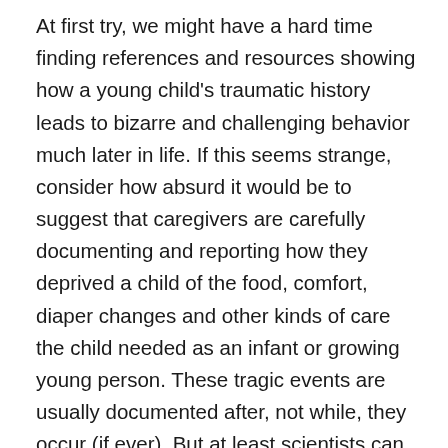At first try, we might have a hard time finding references and resources showing how a young child's traumatic history leads to bizarre and challenging behavior much later in life. If this seems strange, consider how absurd it would be to suggest that caregivers are carefully documenting and reporting how they deprived a child of the food, comfort, diaper changes and other kinds of care the child needed as an infant or growing young person. These tragic events are usually documented after, not while, they occur (if ever). But at least scientists can get familiar with how early learning affects later learning, and behavior later in life. This helps us to make sense of otherwise bizarre behaviors, provide important contextual information to caregivers and decision makers, and even to inform our preventative treatment of behaviors that don't seem related to the ongoing situation.